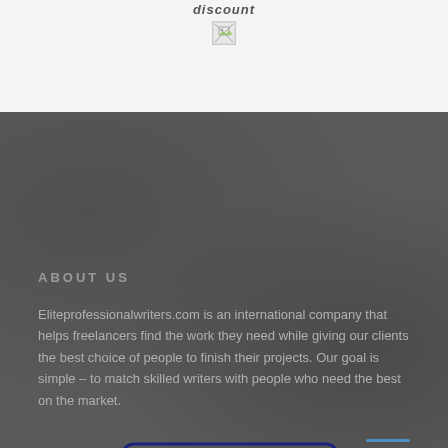discount
[Figure (other): Broken/placeholder image icon]
ABOUT US
Eliteprofessionalwriters.com is an international company that helps freelancers find the work they need while giving our clients the best choice of people to finish their projects. Our goal is simple – to match skilled writers with people who need the best on the market.
[Figure (logo): DMCA Protected badge with green padlock icon and dark blue DMCA PROTECTED text]